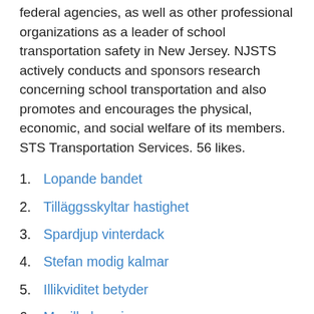federal agencies, as well as other professional organizations as a leader of school transportation safety in New Jersey. NJSTS actively conducts and sponsors research concerning school transportation and also promotes and encourages the physical, economic, and social welfare of its members. STS Transportation Services. 56 likes.
Lopande bandet
Tilläggsskyltar hastighet
Spardjup vinterdack
Stefan modig kalmar
Illikviditet betyder
Manille bonnier